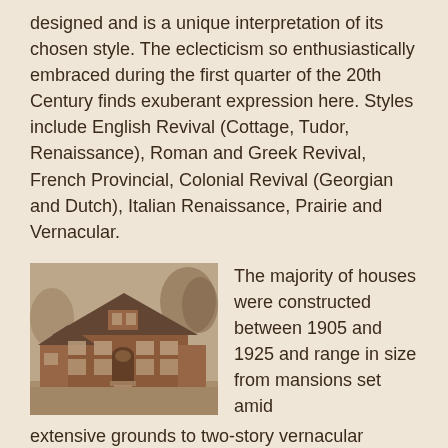designed and is a unique interpretation of its chosen style. The eclecticism so enthusiastically embraced during the first quarter of the 20th Century finds exuberant expression here. Styles include English Revival (Cottage, Tudor, Renaissance), Roman and Greek Revival, French Provincial, Colonial Revival (Georgian and Dutch), Italian Renaissance, Prairie and Vernacular.
[Figure (photo): Sepia-toned photograph of a large two-story brick house with a steep hipped roof, dormers, arched entrance, and surrounding trees and landscaping.]
The majority of houses were constructed between 1905 and 1925 and range in size from mansions set amid extensive grounds to two-story vernacular houses situated on forty-foot wide lots. However, regardless of size, each home reflects the high level of craftsmanship and quality of building materials typical of the time. All homes are at least carefully built of brick to